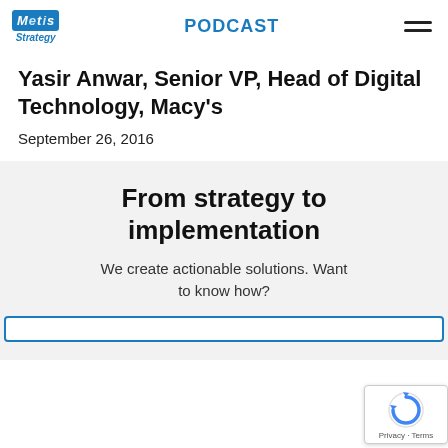Metis Strategy — PODCAST
Yasir Anwar, Senior VP, Head of Digital Technology, Macy's
September 26, 2016
From strategy to implementation
We create actionable solutions. Want to know how?